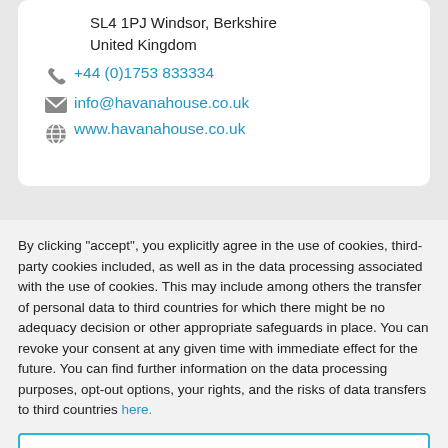SL4 1PJ Windsor, Berkshire
United Kingdom
+44 (0)1753 833334
info@havanahouse.co.uk
www.havanahouse.co.uk
By clicking "accept", you explicitly agree in the use of cookies, third-party cookies included, as well as in the data processing associated with the use of cookies. This may include among others the transfer of personal data to third countries for which there might be no adequacy decision or other appropriate safeguards in place. You can revoke your consent at any given time with immediate effect for the future. You can find further information on the data processing purposes, opt-out options, your rights, and the risks of data transfers to third countries here.
ACCEPT